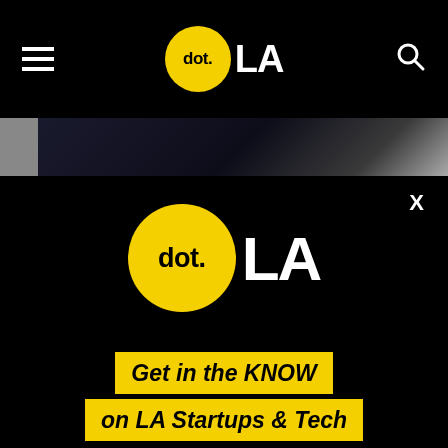dot.LA navigation bar with hamburger menu and search icon
[Figure (screenshot): Dark image strip showing partial photo content behind modal]
[Figure (logo): dot.LA logo — yellow circle with 'dot.' text and 'LA' text in white on black background]
X
Get in the KNOW on LA Startups & Tech
Email